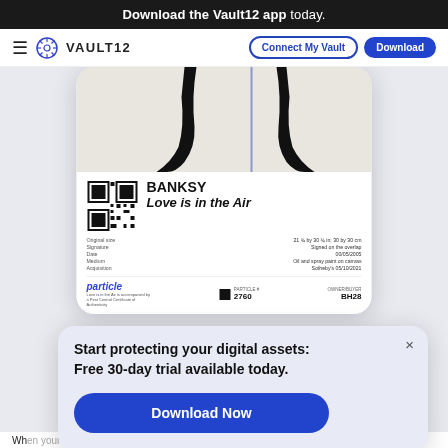Download the Vault12 app today.
[Figure (screenshot): Vault12 website navigation bar with hamburger menu, Vault12 logo, Connect My Vault and Download buttons]
[Figure (screenshot): Mobile phone showing a Banksy 'Love is in the Air' digital certificate with QR code, particle branding, artwork details and provenance info]
[Figure (screenshot): Popup overlay: 'Start protecting your digital assets: Free 30-day trial available today.' with a 'Download Now' blue button]
Wh th digit t it bl f d